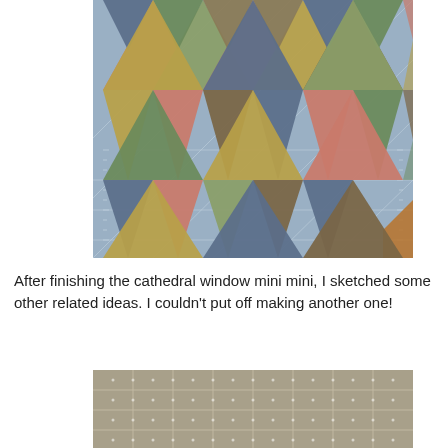[Figure (photo): Colorful fabric triangles arranged in a quilt pattern on a blue cutting mat with grid lines. Colors include salmon/pink, yellow-green, olive, dark blue/navy, brown, and light green triangles forming a geometric pattern.]
After finishing the cathedral window mini mini, I sketched some other related ideas. I couldn't put off making another one!
[Figure (photo): Close-up of a taupe/grey-green fabric with a small white dot grid pattern, laid on what appears to be a cutting mat.]